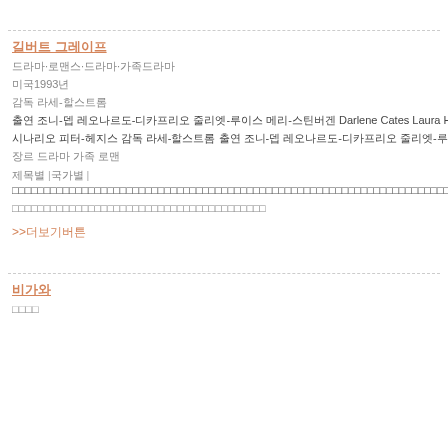길버트 그레이프
드라마·로맨스·드라마·가족드라마
미국1993년
감독 라세-할스트롬
출연 조니-뎁 레오나르도-디카프리오 줄리엣-루이스 메리-스틴버겐 Darlene Cates Laura Harrington Mary Kate Schellh
시나리오 피터-헤지스 감독 라세-할스트롬 출연 조니-뎁 레오나르도-디카프리오 줄리엣-루이스 메리-스틴버겐 Darlene Cates Laura Harrington Mary Kate Sc
장르 드라마 가족 로맨
제목별 |국가별 | 더많은 텍스트 내용이 여기에 나열됩니다 더많은 텍스트 내용이 여기에 나열됩니다 더많은 텍스트
더많은 텍스트 내용이 여기에 나열됩니다 더많은 텍스트 내용이 여기에
>>더보기버튼
비가와